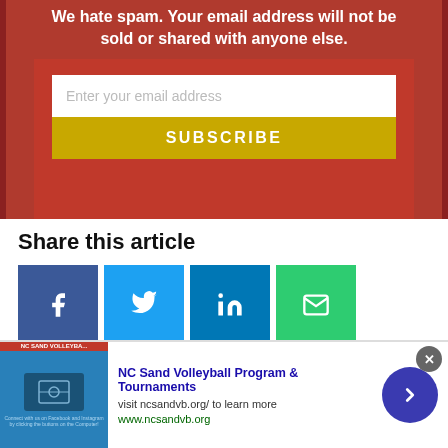We hate spam. Your email address will not be sold or shared with anyone else.
Enter your email address
SUBSCRIBE
Share this article
[Figure (infographic): Social share buttons: Facebook (blue), Twitter (light blue), LinkedIn (dark blue), Email (green)]
[Figure (infographic): Advertisement bar: NC Sand Volleyball Program & Tournaments, visit ncsandvb.org/ to learn more, www.ncsandvb.org]